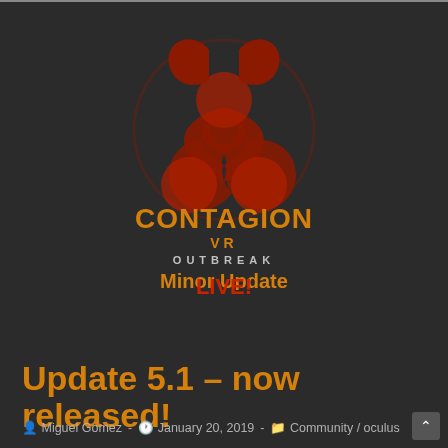[Figure (logo): Contagion VR Outbreak logo with biohazard symbol in red/orange and gold text, with 'Minor Update LIVE!' text below]
Update 5.1 – now released!
Miguel Gomez  -  January 20, 2019  -  Community / oculus
Greetings everyone we hope you all enjoyed the holidays as much as we did! We've been working hard to try and get this important update out so let's get to…